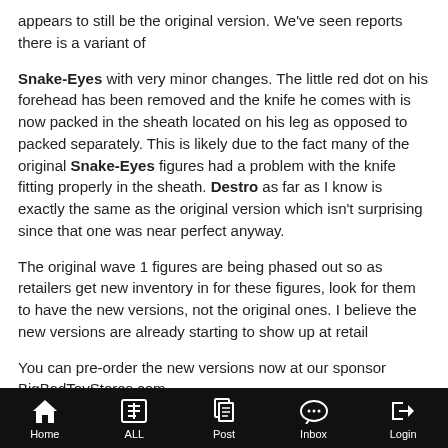appears to still be the original version. We've seen reports there is a variant of
Snake-Eyes with very minor changes. The little red dot on his forehead has been removed and the knife he comes with is now packed in the sheath located on his leg as opposed to packed separately. This is likely due to the fact many of the original Snake-Eyes figures had a problem with the knife fitting properly in the sheath. Destro as far as I know is exactly the same as the original version which isn't surprising since that one was near perfect anyway.
The original wave 1 figures are being phased out so as retailers get new inventory in for these figures, look for them to have the new versions, not the original ones. I believe the new versions are already starting to show up at retail
You can pre-order the new versions now at our sponsor BigBadToyStores.com
Home  ALL  Post  Inbox  Login